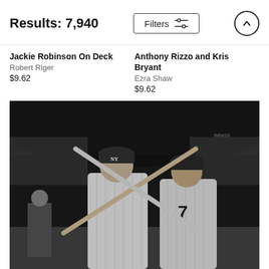Results: 7,940
Jackie Robinson On Deck
Robert Riger
$9.62
Anthony Rizzo and Kris Bryant
Ezra Shaw
$9.62
[Figure (photo): Black and white photograph of two New York Yankees baseball players in pinstripe uniforms holding crossed baseball bats. The player on the right wears number 7. A stadium crowd is visible in the background.]